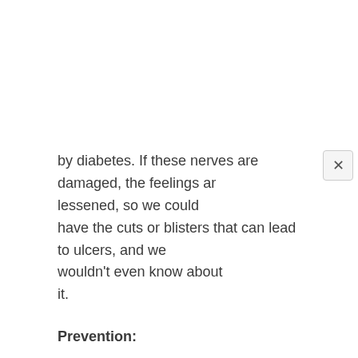by diabetes. If these nerves are damaged, the feelings are lessened, so we could have the cuts or blisters that can lead to ulcers, and we wouldn't even know about it.
Prevention:
Check your feet regularly to be sure there are no signs of injury. If you develop corns or calluses, have them treated immediately by a podiatrist. Wash and dry carefully between your toes, and keep your nails trimmed and smooth.